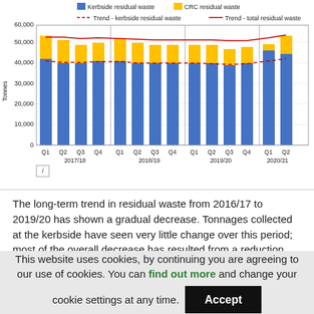[Figure (stacked-bar-chart): Residual waste by quarter (Kerbside + CRC) with trend lines]
The long-term trend in residual waste from 2016/17 to 2019/20 has shown a gradual decrease. Tonnages collected at the kerbside have seen very little change over this period; most of the overall decrease has resulted from a reduction
This website uses cookies, by continuing you are agreeing to our use of cookies. You can find out more and change your cookie settings at any time. Accept